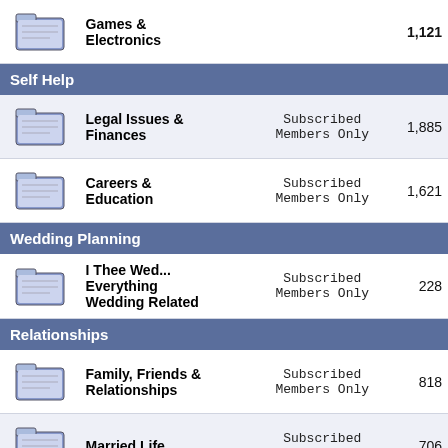| Icon | Category | Access | Count |
| --- | --- | --- | --- |
| [icon] | Games & Electronics |  | 1,121+ |
| Self Help |  |  |  |
| [icon] | Legal Issues & Finances | Subscribed Members Only | 1,885 |
| [icon] | Careers & Education | Subscribed Members Only | 1,621 |
| Wedding Planning |  |  |  |
| [icon] | I Thee Wed... Everything Wedding Related | Subscribed Members Only | 228 |
| Relationships |  |  |  |
| [icon] | Family, Friends & Relationships | Subscribed Members Only | 818 |
| [icon] | Married Life | Subscribed Members Only | 706 |
| [icon] | Childfree Living | Subscribed Members Only | 51 |
| [icon] | Single & Dating Life | Subscribed Members Only | 202 |
| Homelife & Hobbies |  |  |  |